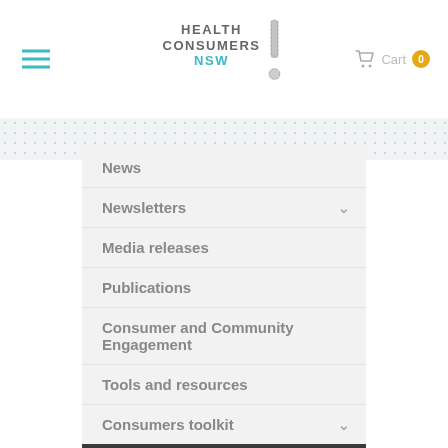Health Consumers NSW — Cart 0
News
Newsletters
Media releases
Publications
Consumer and Community Engagement
Tools and resources
Consumers toolkit
Tools and resources hub